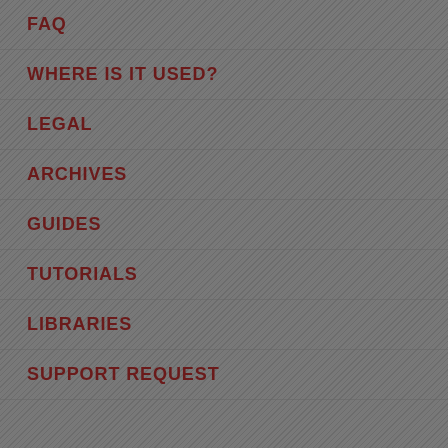FAQ
WHERE IS IT USED?
LEGAL
ARCHIVES
GUIDES
TUTORIALS
LIBRARIES
SUPPORT REQUEST